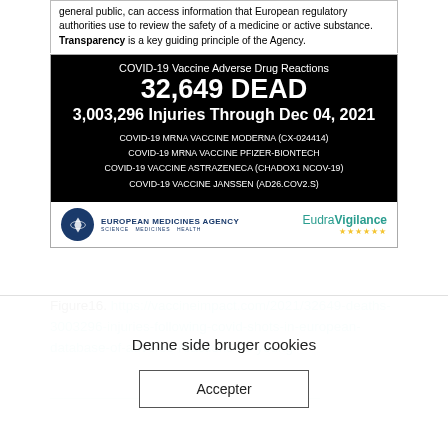general public, can access information that European regulatory authorities use to review the safety of a medicine or active substance. Transparency is a key guiding principle of the Agency.
[Figure (screenshot): Screenshot showing COVID-19 Vaccine Adverse Drug Reactions statistics: 32,649 DEAD and 3,003,296 Injuries Through Dec 04, 2021. Lists COVID-19 MRNA VACCINE MODERNA (CX-024414), COVID-19 MRNA VACCINE PFIZER-BIONTECH, COVID-19 VACCINE ASTRAZENECA (CHADOX1 NCOV-19), COVID-19 VACCINE JANSSEN (AD26.COV2.S). European Medicines Agency logo and EudraVigilance logo shown at bottom.]
Figure16. https://vaccineimpact.com/2021/32649-deaths-3003296-injuries-following-covid-shots-in-european-database-of-adverse-reactions-as-young-
Denne side bruger cookies
Accepter